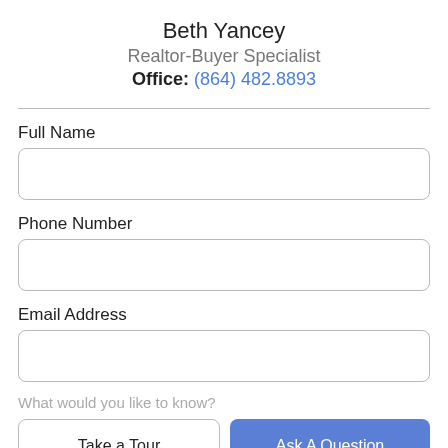Beth Yancey
Realtor-Buyer Specialist
Office: (864) 482.8893
Full Name
Phone Number
Email Address
What would you like to know?
Take a Tour
Ask A Question